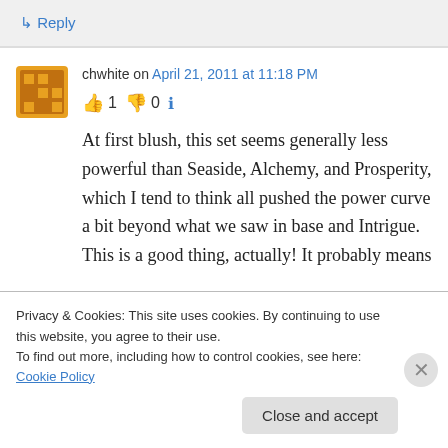↳ Reply
chwhite on April 21, 2011 at 11:18 PM
👍 1 👎 0 ℹ
At first blush, this set seems generally less powerful than Seaside, Alchemy, and Prosperity, which I tend to think all pushed the power curve a bit beyond what we saw in base and Intrigue. This is a good thing, actually! It probably means
Privacy & Cookies: This site uses cookies. By continuing to use this website, you agree to their use.
To find out more, including how to control cookies, see here: Cookie Policy
Close and accept